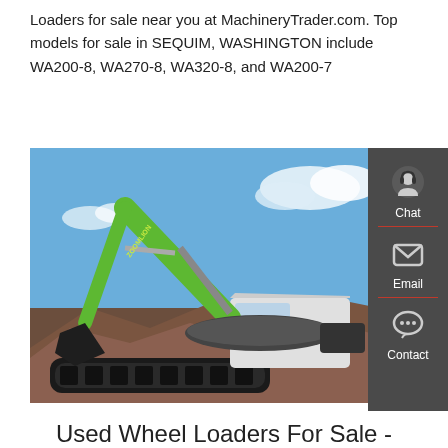Loaders for sale near you at MachineryTrader.com. Top models for sale in SEQUIM, WASHINGTON include WA200-8, WA270-8, WA320-8, and WA200-7
Get a quote
[Figure (photo): A large green Zoomlion excavator working on a rocky construction site with blue sky and clouds in the background]
Used Wheel Loaders For Sale -